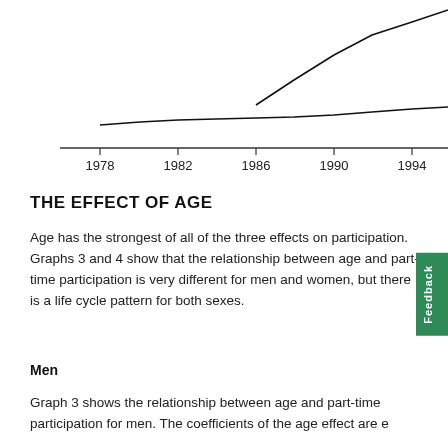[Figure (continuous-plot): Partial line chart showing a trend over years 1978 to approximately 1994+, with two lines visible — one flat low line and one rising line at top right. X-axis shows years: 1978, 1982, 1986, 1990, 1994. X-axis label: Year.]
THE EFFECT OF AGE
Age has the strongest of all of the three effects on participation. Graphs 3 and 4 show that the relationship between age and part-time participation is very different for men and women, but there is a life cycle pattern for both sexes.
Men
Graph 3 shows the relationship between age and part-time participation for men. The coefficients of the age effect are e